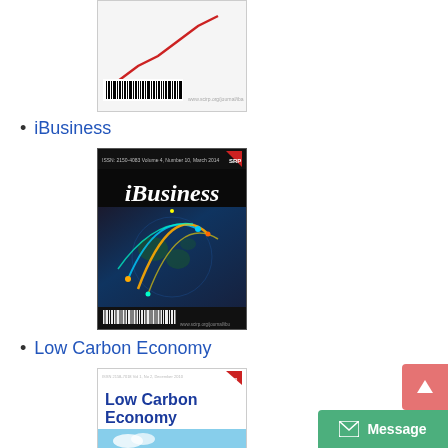[Figure (illustration): Partial view of a journal cover at the top of page showing a chart graphic and barcode at the bottom]
iBusiness
[Figure (illustration): iBusiness journal cover with dark background, globe/network graphic with glowing arcs, white italic bold title 'iBusiness', barcode and website at bottom]
Low Carbon Economy
[Figure (illustration): Low Carbon Economy journal cover with blue bold title text, scenic background with sky, wind turbines, green earth and city buildings]
[Figure (other): Pink scroll-to-top button with up arrow]
[Figure (other): Green Message button with envelope icon]